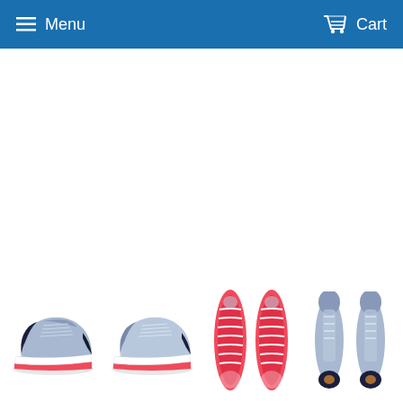Menu   Cart
[Figure (photo): ASICS running shoe viewed from side-left angle, blue/grey with pink/coral sole]
[Figure (photo): ASICS running shoe viewed from side-right angle, blue/grey with coral sole]
[Figure (photo): Bottom sole view of pair of ASICS running shoes showing coral/red outsole pattern]
[Figure (photo): Top-down view of pair of ASICS running shoes, blue/grey with coral accents]